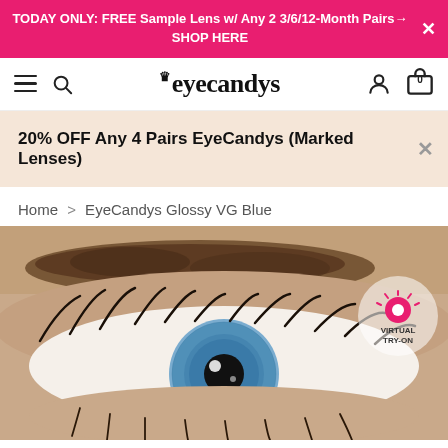TODAY ONLY: FREE Sample Lens w/ Any 2 3/6/12-Month Pairs→ SHOP HERE
[Figure (screenshot): EyeCandys e-commerce website navigation bar with hamburger menu, search icon, eyecandys logo, account icon, and cart icon showing 0 items]
20% OFF Any 4 Pairs EyeCandys (Marked Lenses)
Home > EyeCandys Glossy VG Blue
[Figure (photo): Close-up photo of a human eye wearing blue colored contact lenses (EyeCandys Glossy VG Blue), with detailed eyelashes and eyebrow visible. A virtual try-on button overlay is in the upper right of the image.]